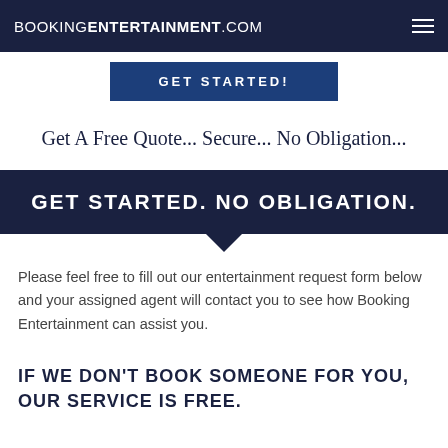BOOKINGENTERTAINMENT.COM
[Figure (screenshot): Partially visible GET STARTED! button in dark blue]
Get A Free Quote... Secure... No Obligation...
GET STARTED. NO OBLIGATION.
Please feel free to fill out our entertainment request form below and your assigned agent will contact you to see how Booking Entertainment can assist you.
IF WE DON'T BOOK SOMEONE FOR YOU, OUR SERVICE IS FREE.